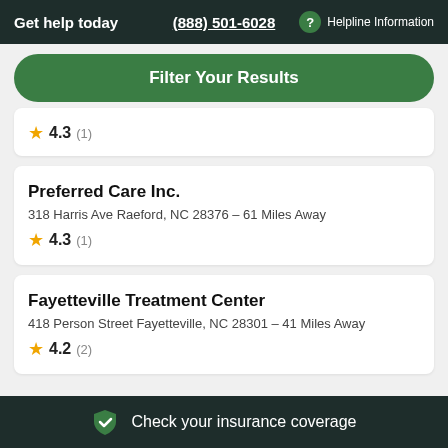Get help today  (888) 501-6028  ? Helpline Information
Filter Your Results
★ 4.3 (1)
Preferred Care Inc.
318 Harris Ave Raeford, NC 28376 - 61 Miles Away
★ 4.3 (1)
Fayetteville Treatment Center
418 Person Street Fayetteville, NC 28301 - 41 Miles Away
★ 4.2 (2)
Check your insurance coverage